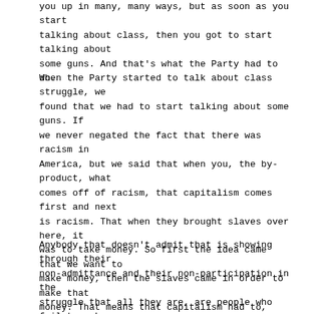you up in many, many ways, but as soon as you start talking about class, then you got to start talking about some guns. And that's what the Party had to do.
When the Party started to talk about class struggle, we found that we had to start talking about some guns. If we never negated the fact that there was racism in America, but we said that when you, the by-product, what comes off of racism, that capitalism comes first and next is racism. That when they brought slaves over here, it was to take money. So first the idea came that we want to make money, then the slaves came in order to make that money. That means that capitalism had to, through historical fact, racism had to come from capitalism. It had to be capitalism first and racism was a by-product of that.
Anybody that doesn't admit that is showing through their non-admittance and their non-participation in the struggle that all they are, are people who fail to make a commitment; and the only thing that they have going for them is the education that they receive in these institutions—education enough to teach them some alibis